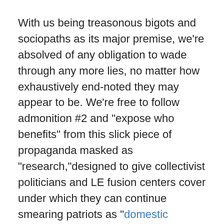With us being treasonous bigots and sociopaths as its major premise, we're absolved of any obligation to wade through any more lies, no matter how exhaustively end-noted they may appear to be. We're free to follow admonition #2 and "expose who benefits" from this slick piece of propaganda masked as "research,"designed to give collectivist politicians and LE fusion centers cover under which they can continue smearing patriots as "domestic terrorists."
Obviously, the snouts at the trough rely heavily on keeping the cash flow turned on, either directly, as the president/executive director and employees do through monetary compensation, or indirectly, like directors get through networking. And let's not forget the agendas being advanced: Anti-Christian: Check. "Prison abolition and